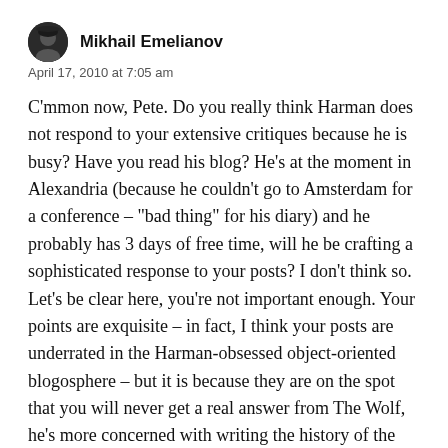Mikhail Emelianov
April 17, 2010 at 7:05 am
C'mmon now, Pete. Do you really think Harman does not respond to your extensive critiques because he is busy? Have you read his blog? He's at the moment in Alexandria (because he couldn't go to Amsterdam for a conference – "bad thing" for his diary) and he probably has 3 days of free time, will he be crafting a sophisticated response to your posts? I don't think so. Let's be clear here, you're not important enough. Your points are exquisite – in fact, I think your posts are underrated in the Harman-obsessed object-oriented blogosphere – but it is because they are on the spot that you will never get a real answer from The Wolf, he's more concerned with writing the history of the movement than actually writing substantive arguments that would constitute the movement… Feel free to erase this comment – you don't want to get on Harman's bad